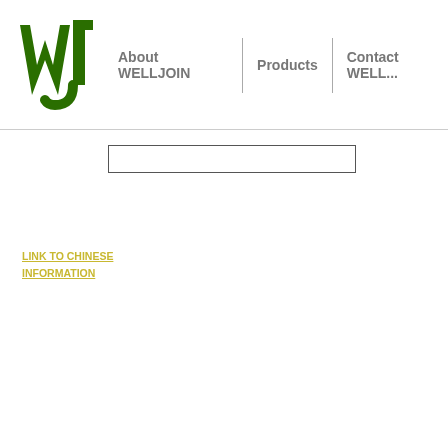[Figure (logo): WELLJOIN company logo - green stylized WJ letters]
About WELLJOIN | Products | Contact WELL...
PC COFFEE CUP & P...
SET OF 6PCS SHAK...
ACRYLIC TEA BAG B...
ACRYLIC TEA BAG ...